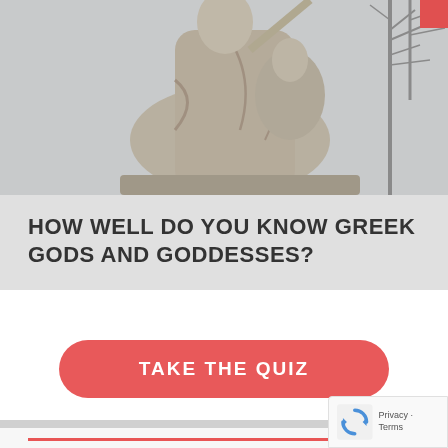[Figure (photo): Greek statue of figures, stone colored, outdoor setting with bare tree branches in background]
HOW WELL DO YOU KNOW GREEK GODS AND GODDESSES?
TAKE THE QUIZ
TRENDING
5 BEST STEPS TO SET INSTAGRAM FOR AUT...